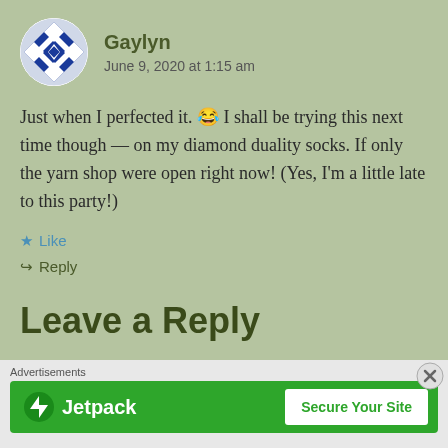Gaylyn
June 9, 2020 at 1:15 am
Just when I perfected it. 😂 I shall be trying this next time though — on my diamond duality socks. If only the yarn shop were open right now! (Yes, I'm a little late to this party!)
★ Like
↪ Reply
Leave a Reply
Advertisements
[Figure (logo): Jetpack advertisement banner with green background, Jetpack logo and 'Secure Your Site' button]